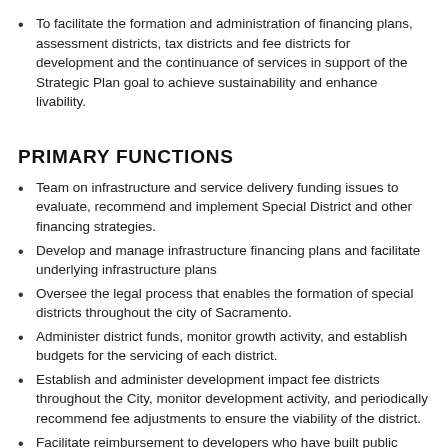To facilitate the formation and administration of financing plans, assessment districts, tax districts and fee districts for development and the continuance of services in support of the Strategic Plan goal to achieve sustainability and enhance livability.
PRIMARY FUNCTIONS
Team on infrastructure and service delivery funding issues to evaluate, recommend and implement Special District and other financing strategies.
Develop and manage infrastructure financing plans and facilitate underlying infrastructure plans
Oversee the legal process that enables the formation of special districts throughout the city of Sacramento.
Administer district funds, monitor growth activity, and establish budgets for the servicing of each district.
Establish and administer development impact fee districts throughout the City, monitor development activity, and periodically recommend fee adjustments to ensure the viability of the district.
Facilitate reimbursement to developers who have built public infrastructure.